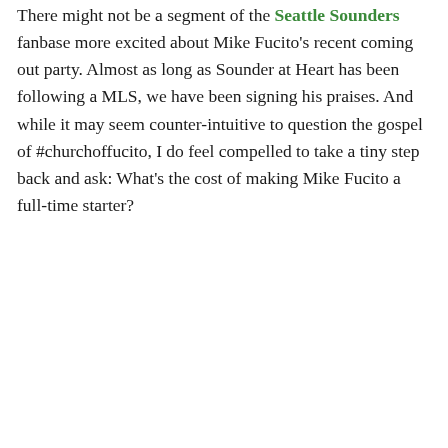There might not be a segment of the Seattle Sounders fanbase more excited about Mike Fucito's recent coming out party. Almost as long as Sounder at Heart has been following a MLS, we have been signing his praises. And while it may seem counter-intuitive to question the gospel of #churchoffucito, I do feel compelled to take a tiny step back and ask: What's the cost of making Mike Fucito a full-time starter?